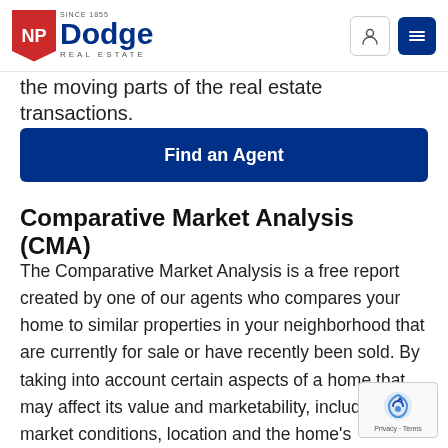NP Dodge Real Estate — Since 1855
the moving parts of the real estate transactions.
Find an Agent
Comparative Market Analysis (CMA)
The Comparative Market Analysis is a free report created by one of our agents who compares your home to similar properties in your neighborhood that are currently for sale or have recently been sold. By taking into account certain aspects of a home that may affect its value and marketability, including local market conditions, location and the home's amenities and overall condition, our agents are able to better assist you in determining the true value of your home.